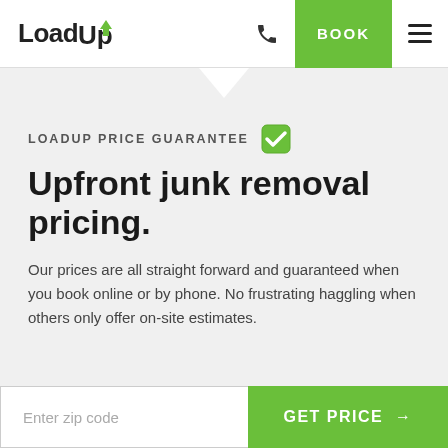LoadUp | BOOK
LOADUP PRICE GUARANTEE
Upfront junk removal pricing.
Our prices are all straight forward and guaranteed when you book online or by phone. No frustrating haggling when others only offer on-site estimates.
Enter zip code | GET PRICE →